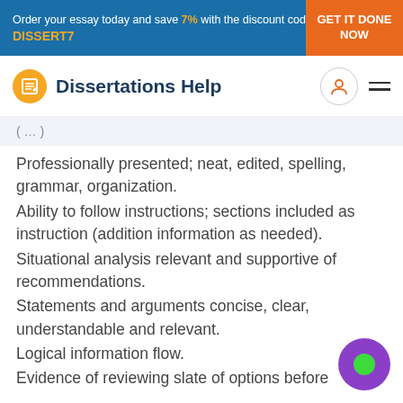Order your essay today and save 7% with the discount code DISSERT7 | GET IT DONE NOW
[Figure (logo): Dissertations Help logo with orange circle icon and dark blue text]
( ... )
Professionally presented; neat, edited, spelling, grammar, organization.
Ability to follow instructions; sections included as instruction (addition information as needed).
Situational analysis relevant and supportive of recommendations.
Statements and arguments concise, clear, understandable and relevant.
Logical information flow.
Evidence of reviewing slate of options before selecting the most appropriate.